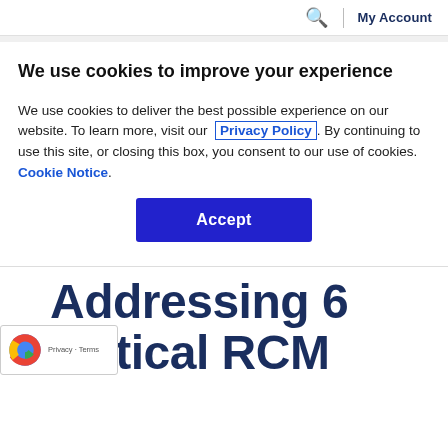🔍  |  My Account
We use cookies to improve your experience
We use cookies to deliver the best possible experience on our website. To learn more, visit our  Privacy Policy. By continuing to use this site, or closing this box, you consent to our use of cookies.  Cookie Notice.
Accept
Addressing 6 Critical RCM Shi...